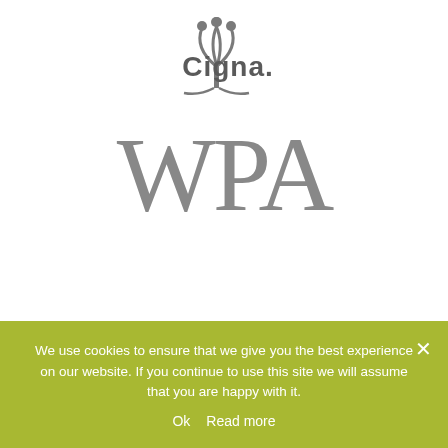[Figure (logo): Cigna logo with tree/person icon and 'Cigna.' wordmark in teal/grey]
[Figure (logo): WPA logo in large grey serif letters]
Osteopathy · Physiotherapy · Rehabilitation · Sports Massage · Cranial Osteopathy · Acupuncture · Nutrition
We use cookies to ensure that we give you the best experience on our website. If you continue to use this site we will assume that you are happy with it.
Ok  Read more